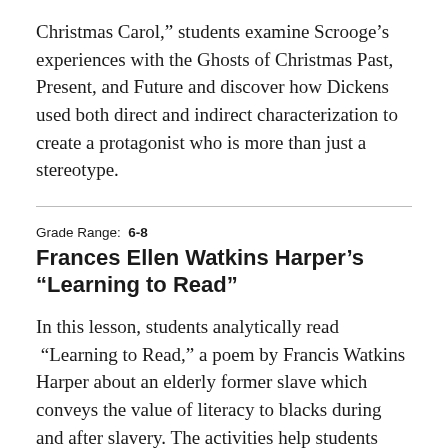Christmas Carol," students examine Scrooge's experiences with the Ghosts of Christmas Past, Present, and Future and discover how Dickens used both direct and indirect characterization to create a protagonist who is more than just a stereotype.
Grade Range: 6-8
Frances Ellen Watkins Harper's “Learning to Read”
In this lesson, students analytically read “Learning to Read,” a poem by Francis Watkins Harper about an elderly former slave which conveys the value of literacy to blacks during and after slavery. The activities help students examine the experiences of slaves, the history